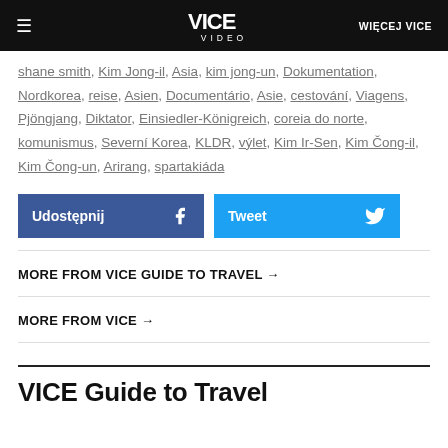VICE VIDEO | WIĘCEJ VICE
shane smith, Kim Jong-il, Asia, kim jong-un, Dokumentation, Nordkorea, reise, Asien, Documentário, Asie, cestování, Viagens, Pjöngjang, Diktator, Einsiedler-Königreich, coreia do norte, komunismus, Severní Korea, KLDR, výlet, Kim Ir-Sen, Kim Čong-il, Kim Čong-un, Arirang, spartakiáda
Udostępnij | Tweet
MORE FROM VICE GUIDE TO TRAVEL →
MORE FROM VICE →
VICE Guide to Travel